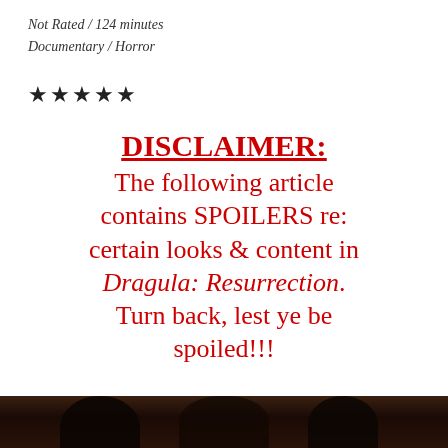Not Rated / 124 minutes
Documentary / Horror
★★★★★
DISCLAIMER:
The following article contains SPOILERS re: certain looks & content in Dragula: Resurrection. Turn back, lest ye be spoiled!!!
[Figure (photo): Dark photo strip at the bottom showing figures/silhouettes against a dark background]